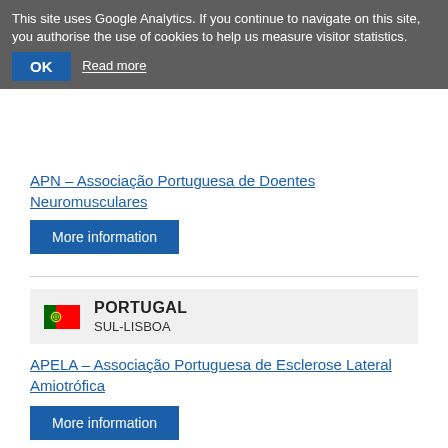This site uses Google Analytics. If you continue to navigate on this site, you authorise the use of cookies to help us measure visitor statistics.
OK  Read more
NORTE-PORTO
APN – Associação Portuguesa de Doentes Neuromusculares
More information
PORTUGAL
SUL-LISBOA
APELA – Associação Portuguesa de Esclerose Lateral Amiotrófica
More information
PORTUGAL